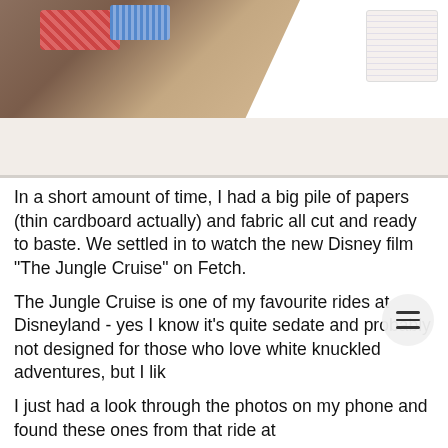[Figure (photo): A hand holding colorful fabric pieces (red and blue woven/knitted material) over a white table surface, with a patterned card or paper visible in the top right corner.]
In a short amount of time, I had a big pile of papers (thin cardboard actually) and fabric all cut and ready to baste. We settled in to watch the new Disney film "The Jungle Cruise" on Fetch.
The Jungle Cruise is one of my favourite rides at Disneyland - yes I know it's quite sedate and probably not designed for those who love white knuckled adventures, but I lik
I just had a look through the photos on my phone and found these ones from that ride at